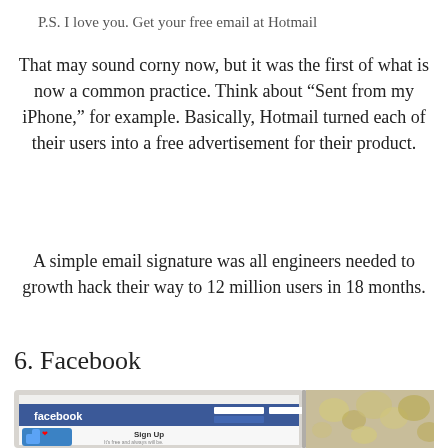P.S. I love you. Get your free email at Hotmail
That may sound corny now, but it was the first of what is now a common practice. Think about “Sent from my iPhone,” for example. Basically, Hotmail turned each of their users into a free advertisement for their product.
A simple email signature was all engineers needed to growth hack their way to 12 million users in 18 months.
6. Facebook
[Figure (screenshot): Screenshot of Facebook website on a laptop, showing the Facebook logo, Sign Up form, and a blue thumbs up icon with a red heart. To the right, a blurred floral image.]